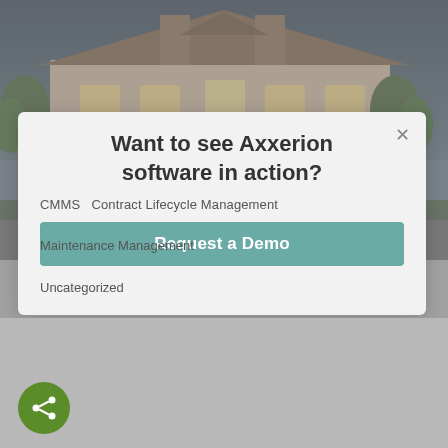[Figure (photo): Exterior photo of a large building at dusk/evening with illuminated windows and trees]
Want to see Axxerion software in action?
CMMS   Contract Lifecycle Management
Request a Demo
Maintenance Management
Uncategorized
Claiborne Senior Living Uses Axxerion CMMS for Efficient Workorder and Maintenance Management
Mehdi Khalvati
February 12, 2021